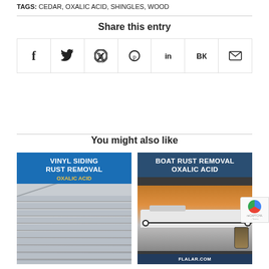TAGS: CEDAR, OXALIC ACID, SHINGLES, WOOD
Share this entry
[Figure (other): Social sharing icons row: Facebook (f), Twitter (bird), WhatsApp, Pinterest (p), LinkedIn (in), VK (VK), Email (envelope)]
You might also like
[Figure (other): Vinyl Siding Rust Removal Oxalic Acid promotional image with house siding background and product bags]
[Figure (other): Boat Rust Removal Oxalic Acid promotional image with boat on water background and FLALAR.COM branding]